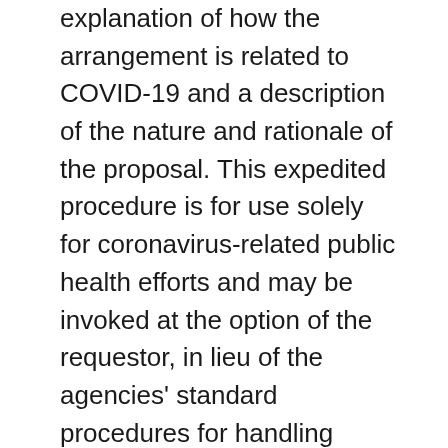explanation of how the arrangement is related to COVID-19 and a description of the nature and rationale of the proposal. This expedited procedure is for use solely for coronavirus-related public health efforts and may be invoked at the option of the requestor, in lieu of the agencies' standard procedures for handling requests for advice. The DOJ issued its first business review letter under the expedited procedure on 4 April 2020, five days after receiving a request related to a collaboration aimed at expediting and increasing manufacturing, sourcing, and distribution of personal-protective